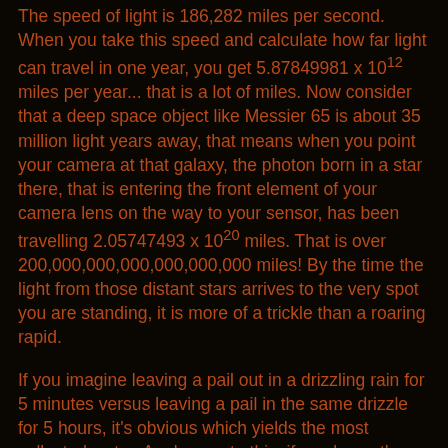The speed of light is 186,282 miles per second. When you take this speed and calculate how far light can travel in one year, you get 5.87849981 x 10^12 miles per year... that is a lot of miles. Now consider that a deep space object like Messier 65 is about 35 million light years away, that means when you point your camera at that galaxy, the photon born in a star there, that is entering the front element of your camera lens on the way to your sensor, has been travelling 2.05747493 x 10^20 miles. That is over 200,000,000,000,000,000,000 miles! By the time the light from those distant stars arrives to the very spot you are standing, it is more of a trickle than a roaring rapid.
If you imagine leaving a pail out in a drizzling rain for 5 minutes versus leaving a pail in the same drizzle for 5 hours, it's obvious which yields the most collected water. Analogous to this, if you leave the shutter open on your camera longer, you will collect more of the photons drizzling in from millions of light years away. In advanced astrophotography, it is fairly common to use